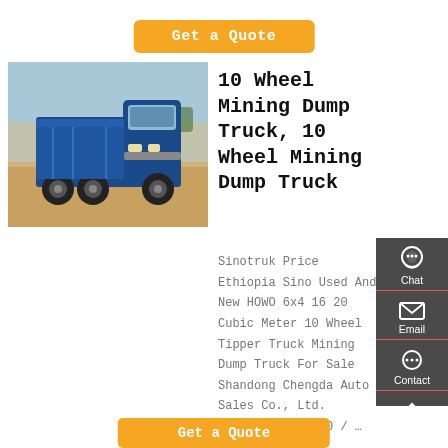Get a Quote
[Figure (photo): Blue Sinotruk HOWO dump truck front view, parked outdoors in sandy/arid environment with trees and wall in background]
10 Wheel Mining Dump Truck, 10 Wheel Mining Dump Truck
Sinotruk Price Ethiopia Sino Used And New HOWO 6x4 16 20 Cubic Meter 10 Wheel Tipper Truck Mining Dump Truck For Sale Shandong Chengda Auto Sales Co., Ltd. $25000.0-35000.0 / …